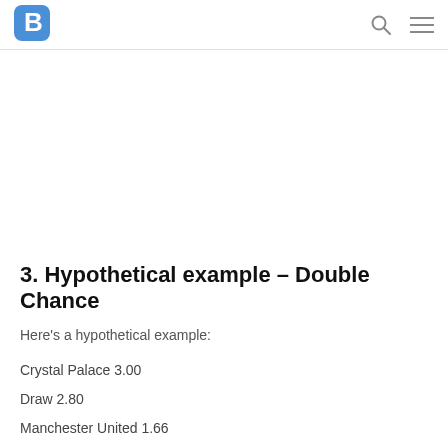B [logo] | search | menu
3. Hypothetical example – Double Chance
Here's a hypothetical example:
Crystal Palace 3.00
Draw 2.80
Manchester United 1.66